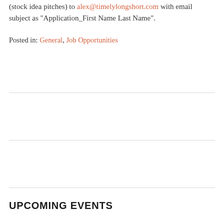(stock idea pitches) to alex@timelylongshort.com with email subject as “Application_First Name Last Name”.
Posted in: General, Job Opportunities
UPCOMING EVENTS